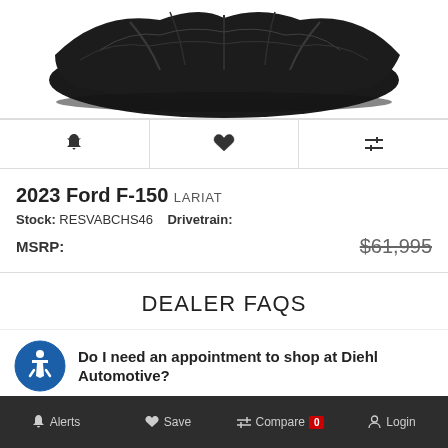[Figure (photo): Car covered with black draped cloth, shot from front-left angle on white background]
🔔  ♥  ⇌
2023 Ford F-150 LARIAT
Stock: RESVABCHS46   Drivetrain:
MSRP:   $61,995
DEALER FAQS
Do I need an appointment to shop at Diehl Automotive?
🔔 Alerts   ♥ Save   ⇌ Compare 0   Login